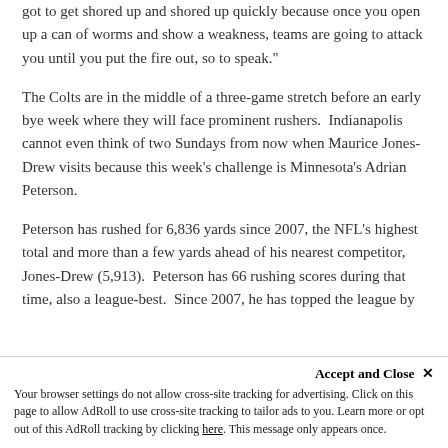got to get shored up and shored up quickly because once you open up a can of worms and show a weakness, teams are going to attack you until you put the fire out, so to speak."
The Colts are in the middle of a three-game stretch before an early bye week where they will face prominent rushers.  Indianapolis cannot even think of two Sundays from now when Maurice Jones-Drew visits because this week's challenge is Minnesota's Adrian Peterson.
Peterson has rushed for 6,836 yards since 2007, the NFL's highest total and more than a few yards ahead of his nearest competitor, Jones-Drew (5,913).  Peterson has 66 rushing scores during that time, also a league-best.  Since 2007, he has topped the league by...
Accept and Close ✕
Your browser settings do not allow cross-site tracking for advertising. Click on this page to allow AdRoll to use cross-site tracking to tailor ads to you. Learn more or opt out of this AdRoll tracking by clicking here. This message only appears once.